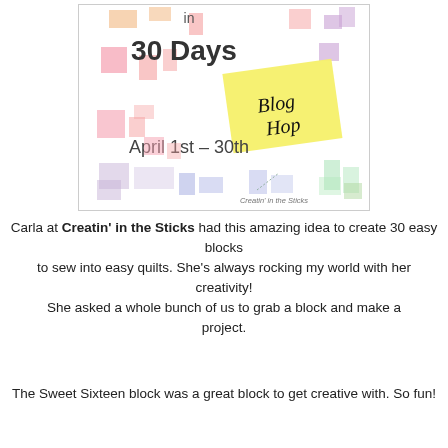[Figure (illustration): Blog Hop promotional image with colorful quilt squares on white background. Text reads '30 Days Blog Hop April 1st - 30th' with yellow sticky note effect and 'Creatin' in the Sticks' branding.]
Carla at Creatin' in the Sticks had this amazing idea to create 30 easy blocks to sew into easy quilts. She's always rocking my world with her creativity! She asked a whole bunch of us to grab a block and make a project.
The Sweet Sixteen block was a great block to get creative with. So fun!